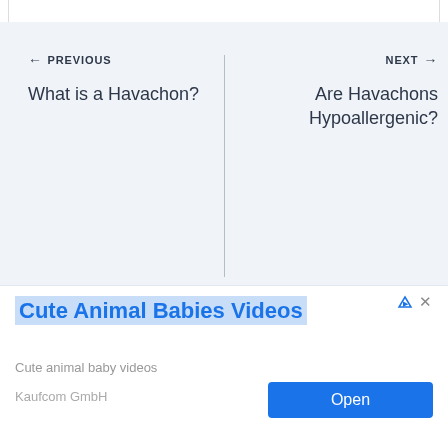← PREVIOUS
What is a Havachon?
NEXT →
Are Havachons Hypoallergenic?
Similar Posts
[Figure (screenshot): Advertisement banner: Cute Animal Babies Videos by Kaufcom GmbH with an Open button]